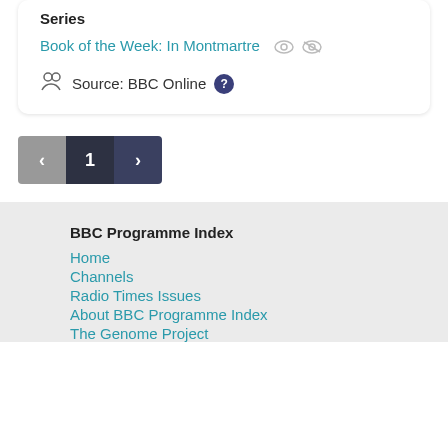Series
Book of the Week: In Montmartre
Source: BBC Online
[Figure (other): Pagination buttons: left arrow (grey), 1 (dark), right arrow (dark)]
BBC Programme Index
Home
Channels
Radio Times Issues
About BBC Programme Index
The Genome Project